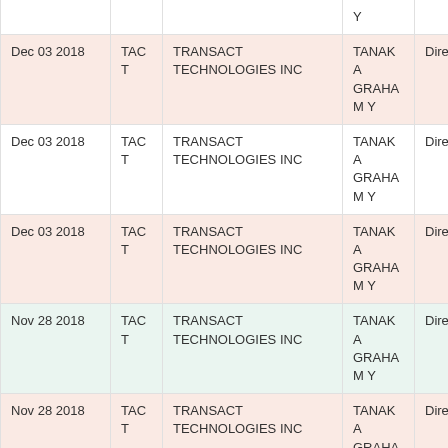| Date | Ticker | Company | Name | Role |
| --- | --- | --- | --- | --- |
|  |  |  | Y |  |
| Dec 03 2018 | TACT | TRANSACT TECHNOLOGIES INC | TANAKA GRAHAM Y | Director |
| Dec 03 2018 | TACT | TRANSACT TECHNOLOGIES INC | TANAKA GRAHAM Y | Director |
| Dec 03 2018 | TACT | TRANSACT TECHNOLOGIES INC | TANAKA GRAHAM Y | Director |
| Nov 28 2018 | TACT | TRANSACT TECHNOLOGIES INC | TANAKA GRAHAM Y | Director |
| Nov 28 2018 | TACT | TRANSACT TECHNOLOGIES INC | TANAKA GRAHAM Y | Director |
| Nov 28 2018 | TACT | TRANSACT TECHNOLOGIES INC | TANAKA GRAHAM Y | Director |
| Nov 28 2018 | TACT | TRANSACT TECHNOLOGIES INC | TANAKA GRAHAM Y | Director |